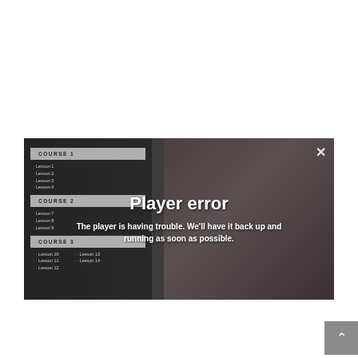[Figure (screenshot): A video player screenshot showing a course menu on the left with COURSE 1 (Lessons 1-4), COURSE 2 (Lessons 7-9), COURSE 3 (Lessons 10-14) sidebar panels, and a person visible in the background on the right. A player error overlay reads 'Player error' and 'The player is having trouble. We'll have it back up and running as soon as possible.' with an X close button in the top right. A scroll-to-top button is visible in the bottom right corner.]